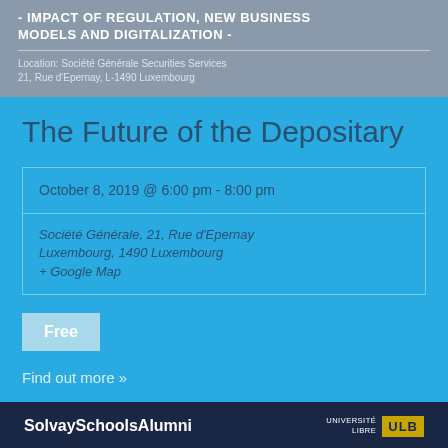- IMPACT OF REGULATION, NEW BUSINESS MODELS AND DIGITALIZATION -
Location: Société Générale Securities Services
21, Rue d'Epernay, L-1490 Luxembourg
The Future of the Depositary
October 8, 2019 @ 6:00 pm - 8:00 pm
Société Générale, 21, Rue d'Epernay
Luxembourg, 1490 Luxembourg
+ Google Map
Free
Find out more »
SolvaySchoolsAlumni   UNIVERSITÉ LIBRE ULB